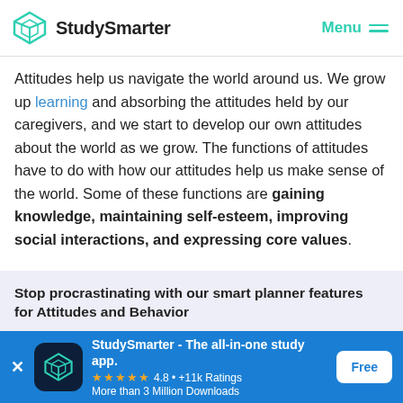StudySmarter  Menu
Attitudes help us navigate the world around us. We grow up learning and absorbing the attitudes held by our caregivers, and we start to develop our own attitudes about the world as we grow. The functions of attitudes have to do with how our attitudes help us make sense of the world. Some of these functions are gaining knowledge, maintaining self-esteem, improving social interactions, and expressing core values.
Stop procrastinating with our smart planner features for Attitudes and Behavior
StudySmarter - The all-in-one study app. ★★★★★ 4.8 · +11k Ratings More than 3 Million Downloads  Free